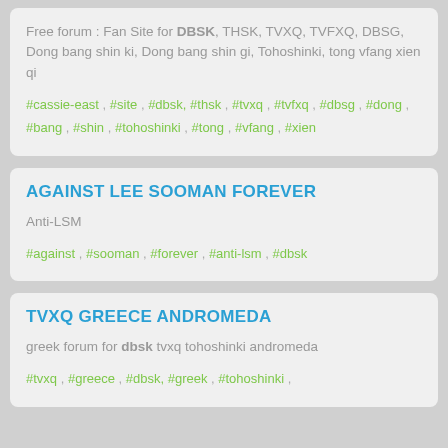Free forum : Fan Site for DBSK, THSK, TVXQ, TVFXQ, DBSG, Dong bang shin ki, Dong bang shin gi, Tohoshinki, tong vfang xien qi
#cassie-east , #site , #dbsk, #thsk , #tvxq , #tvfxq , #dbsg , #dong , #bang , #shin , #tohoshinki , #tong , #vfang , #xien
AGAINST LEE SOOMAN FOREVER
Anti-LSM
#against , #sooman , #forever , #anti-lsm , #dbsk
TVXQ GREECE ANDROMEDA
greek forum for dbsk tvxq tohoshinki andromeda
#tvxq , #greece , #dbsk, #greek , #tohoshinki ,